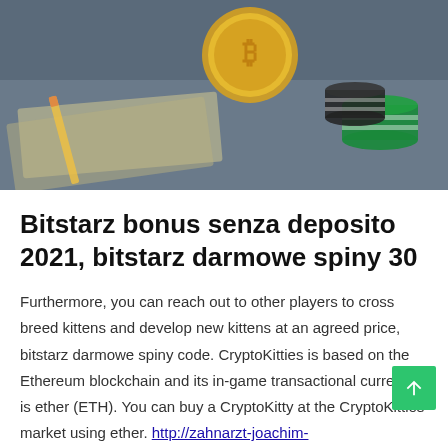[Figure (photo): Photo of casino chips (green, black, white) and a gold Bitcoin coin on a surface with currency notes and a pencil]
Bitstarz bonus senza deposito 2021, bitstarz darmowe spiny 30
Furthermore, you can reach out to other players to cross breed kittens and develop new kittens at an agreed price, bitstarz darmowe spiny code. CryptoKitties is based on the Ethereum blockchain and its in-game transactional currency is ether (ETH). You can buy a CryptoKitty at the CryptoKitties market using ether. http://zahnarzt-joachim-